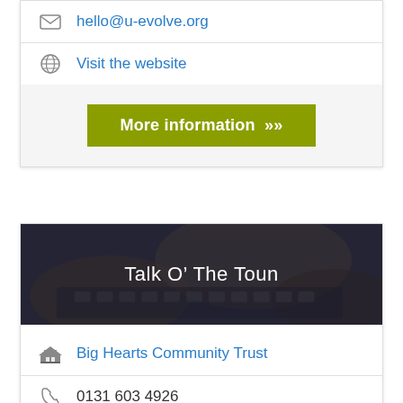hello@u-evolve.org
Visit the website
More information »
Talk O' The Toun
Big Hearts Community Trust
0131 603 4926